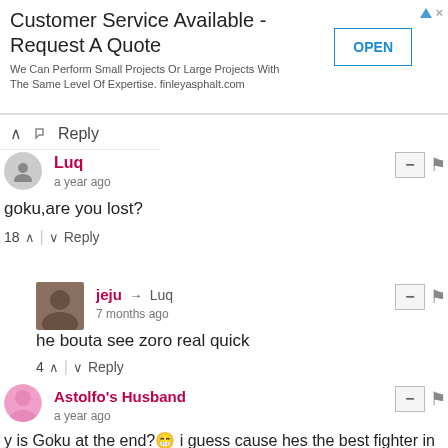[Figure (screenshot): Advertisement banner: Customer Service Available - Request A Quote. We Can Perform Small Projects Or Large Projects With The Same Level Of Expertise. finleyasphalt.com. With an OPEN button.]
Reply
Luq
a year ago
goku,are you lost?
18 ^ | v Reply
jeju → Luq
7 months ago
he bouta see zoro real quick
4 ^ | v Reply
Astolfo's Husband
a year ago
y is Goku at the end?😁 i guess cause hes the best fighter in anime
12 ^ | v 1 Reply